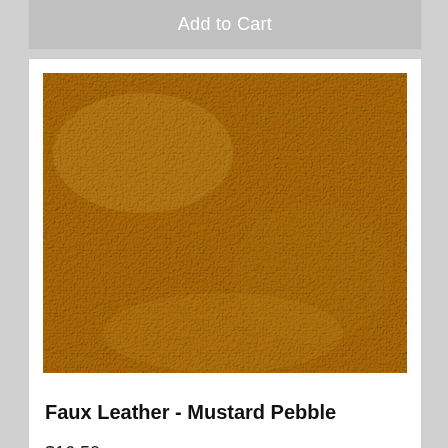Add to Cart
[Figure (photo): Close-up texture swatch of mustard yellow pebbled faux leather fabric]
Faux Leather - Mustard Pebble
$16.50
Add to Cart